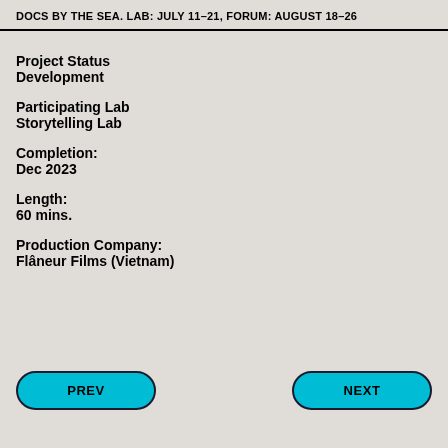DOCS BY THE SEA. LAB: JULY 11–21, FORUM: AUGUST 18–26
Project Status
Development
Participating Lab
Storytelling Lab
Completion:
Dec 2023
Length:
60 mins.
Production Company:
Flâneur Films (Vietnam)